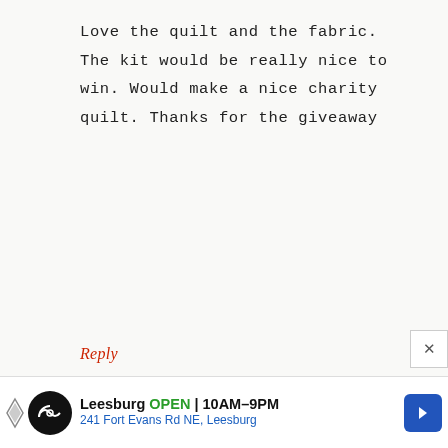Love the quilt and the fabric. The kit would be really nice to win. Would make a nice charity quilt. Thanks for the giveaway
Reply
[Figure (illustration): Purple geometric avatar icon for commenter brenda]
brenda says
APRIL 19, 2019 AT 2:59 AM
[Figure (infographic): Advertisement bar: Leesburg OPEN 10AM-9PM, 241 Fort Evans Rd NE, Leesburg]